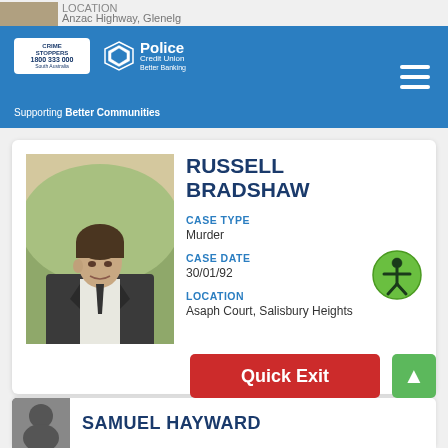LOCATION
Anzac Highway, Glenelg
[Figure (logo): Crime Stoppers South Australia logo and Police Credit Union logo with text: Supporting Better Communities]
[Figure (photo): Black and white photograph of Russell Bradshaw, a young man in a jacket]
RUSSELL BRADSHAW
CASE TYPE
Murder
CASE DATE
30/01/92
LOCATION
Asaph Court, Salisbury Heights
Quick Exit
SAMUEL HAYWARD